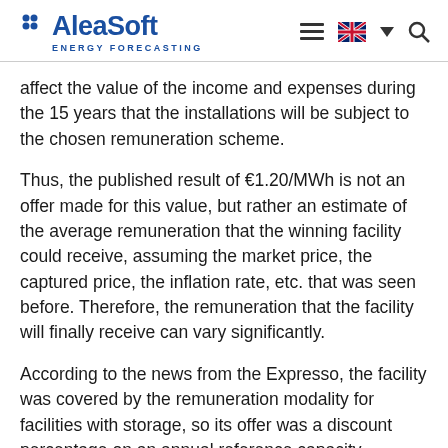AleaSoft ENERGY FORECASTING
affect the value of the income and expenses during the 15 years that the installations will be subject to the chosen remuneration scheme.
Thus, the published result of €1.20/MWh is not an offer made for this value, but rather an estimate of the average remuneration that the winning facility could receive, assuming the market price, the captured price, the inflation rate, etc. that was seen before. Therefore, the remuneration that the facility will finally receive can vary significantly.
According to the news from the Expresso, the facility was covered by the remuneration modality for facilities with storage, so its offer was a discount percentage on an annual reference capacity premium, which was €33,500/MW/year. According to the press release of the